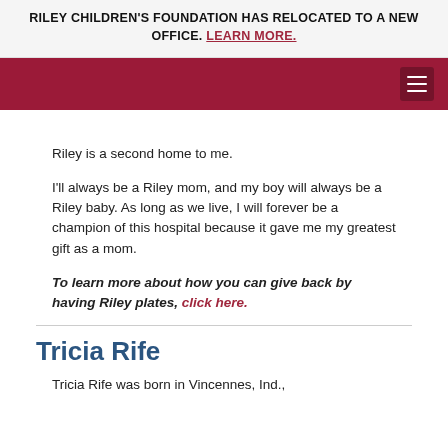RILEY CHILDREN'S FOUNDATION HAS RELOCATED TO A NEW OFFICE. LEARN MORE.
Riley is a second home to me.
I'll always be a Riley mom, and my boy will always be a Riley baby. As long as we live, I will forever be a champion of this hospital because it gave me my greatest gift as a mom.
To learn more about how you can give back by having Riley plates, click here.
Tricia Rife
Tricia Rife was born in Vincennes, Ind.,